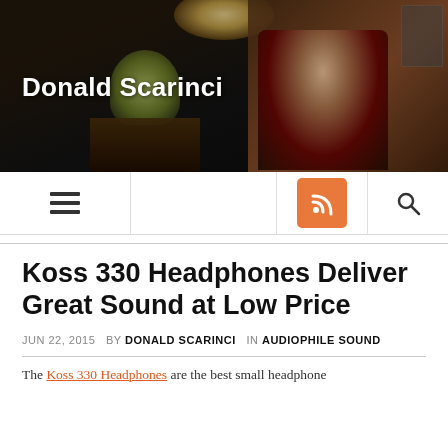[Figure (photo): Dark atmospheric photo of a man sitting in a black leather chair with a laptop in what appears to be an upscale office/lobby setting, with flowers and decorative ceiling lamp visible. Blog header image for Donald Scarinci.]
Donald Scarinci
[Figure (infographic): Website navigation bar with hamburger menu icon on left, RSS feed button (orange square with RSS icon) in center-right, and search magnifying glass icon on right.]
Koss 330 Headphones Deliver Great Sound at Low Price
JUN 22, 2015  by DONALD SCARINCI  in AUDIOPHILE SOUND
The Koss 330 Headphones are the best small headphone